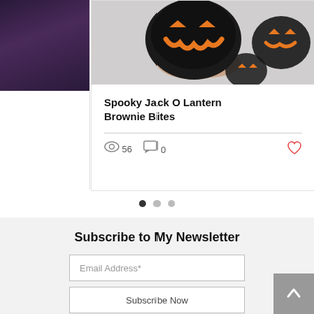[Figure (photo): Photo of dark/black Halloween brownie bites decorated with orange jack o lantern faces, held in a hand]
Spooky Jack O Lantern Brownie Bites
56 views, 0 comments, like button
[Figure (infographic): Carousel navigation dots: one filled dark, two light gray]
Subscribe to My Newsletter
Email Address*
Subscribe Now